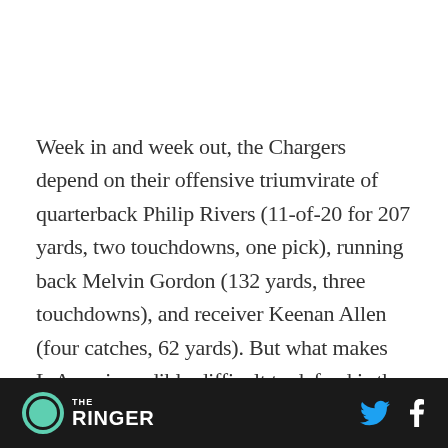Week in and week out, the Chargers depend on their offensive triumvirate of quarterback Philip Rivers (11-of-20 for 207 yards, two touchdowns, one pick), running back Melvin Gordon (132 yards, three touchdowns), and receiver Keenan Allen (four catches, 62 yards). But what makes L.A. so incredibly difficult to defend is the breadth and versatility of the rest of its offensive group. Even with star tight end Hunter Henry on
THE RINGER